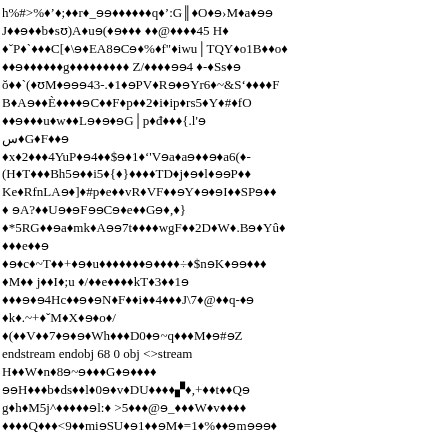Binary/encoded stream content with garbled characters representing a PDF binary stream object